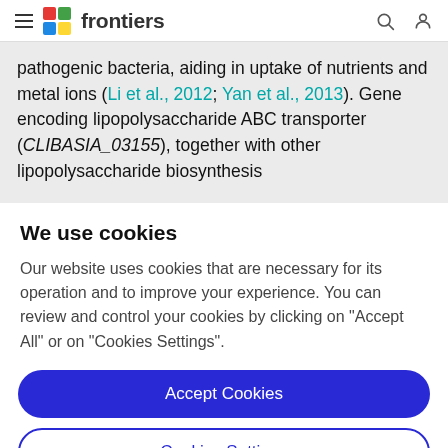frontiers
pathogenic bacteria, aiding in uptake of nutrients and metal ions (Li et al., 2012; Yan et al., 2013). Gene encoding lipopolysaccharide ABC transporter (CLIBASIA_03155), together with other lipopolysaccharide biosynthesis
We use cookies
Our website uses cookies that are necessary for its operation and to improve your experience. You can review and control your cookies by clicking on "Accept All" or on "Cookies Settings".
Accept Cookies
Cookies Settings